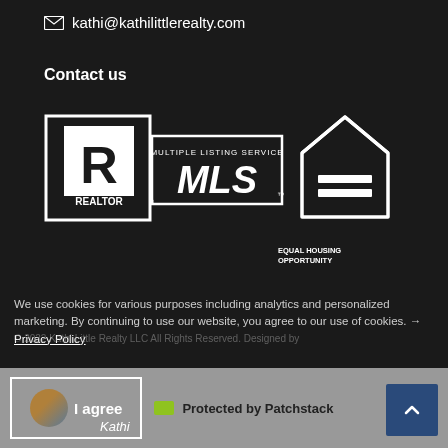kathi@kathilittlerealty.com
Contact us
[Figure (logo): REALTOR and MLS Multiple Listing Service logos side by side, white on dark background]
[Figure (logo): Equal Housing Opportunity logo, white house icon with equal sign, white on dark background]
We use cookies for various purposes including analytics and personalized marketing. By continuing to use our website, you agree to our use of cookies. → Privacy Policy
© 2022 Kathi Little Realty LLC All Rights Reserved. Designed by
I agree   Protected by Patchstack